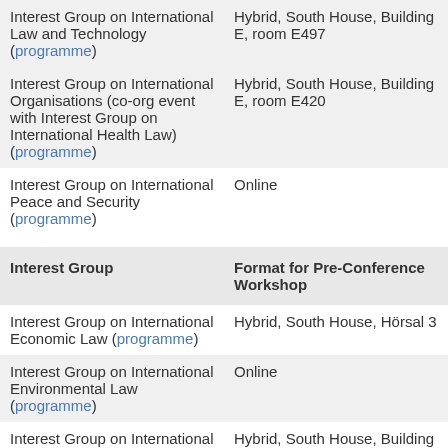| Interest Group on International Law and Technology (programme) | Hybrid, South House, Building E, room E497 |
| Interest Group on International Organisations (co-org event with Interest Group on International Health Law) (programme) | Hybrid, South House, Building E, room E420 |
| Interest Group on International Peace and Security (programme) | Online |
| Interest Group | Format for Pre-Conference Workshop |
| --- | --- |
| Interest Group on International Economic Law (programme) | Hybrid, South House, Hörsal 3 |
| Interest Group on International Environmental Law (programme) | Online |
| Interest Group on International Legal Theory and Philosophy (programme) | Hybrid, South House, Building D, room D231 |